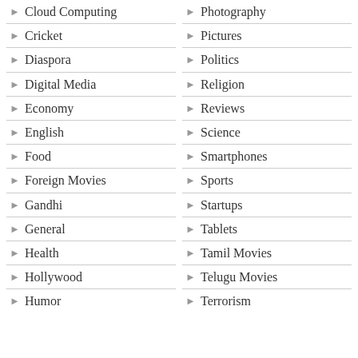Cloud Computing
Cricket
Diaspora
Digital Media
Economy
English
Food
Foreign Movies
Gandhi
General
Health
Hollywood
Humor
Photography
Pictures
Politics
Religion
Reviews
Science
Smartphones
Sports
Startups
Tablets
Tamil Movies
Telugu Movies
Terrorism